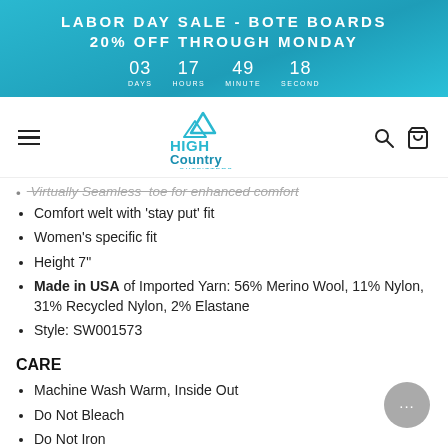LABOR DAY SALE - BOTE BOARDS 20% OFF THROUGH MONDAY 03 DAYS 17 HOURS 49 MINUTE 18 SECOND
[Figure (logo): High Country Outfitters logo with mountain peak icon in blue]
Virtually Seamless' toe for enhanced comfort (partially visible)
Comfort welt with 'stay put' fit
Women's specific fit
Height 7"
Made in USA of Imported Yarn: 56% Merino Wool, 11% Nylon, 31% Recycled Nylon, 2% Elastane
Style: SW001573
CARE
Machine Wash Warm, Inside Out
Do Not Bleach
Do Not Iron
Do Not Dry Cl... (partially visible)